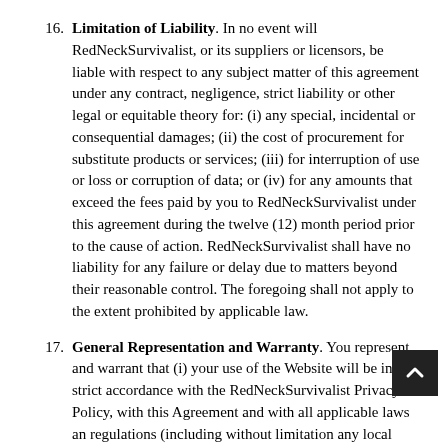16. Limitation of Liability. In no event will RedNeckSurvivalist, or its suppliers or licensors, be liable with respect to any subject matter of this agreement under any contract, negligence, strict liability or other legal or equitable theory for: (i) any special, incidental or consequential damages; (ii) the cost of procurement for substitute products or services; (iii) for interruption of use or loss or corruption of data; or (iv) for any amounts that exceed the fees paid by you to RedNeckSurvivalist under this agreement during the twelve (12) month period prior to the cause of action. RedNeckSurvivalist shall have no liability for any failure or delay due to matters beyond their reasonable control. The foregoing shall not apply to the extent prohibited by applicable law.
17. General Representation and Warranty. You represent and warrant that (i) your use of the Website will be in strict accordance with the RedNeckSurvivalist Privacy Policy, with this Agreement and with all applicable laws and regulations (including without limitation any local laws or regulations in your country, state, city, or other